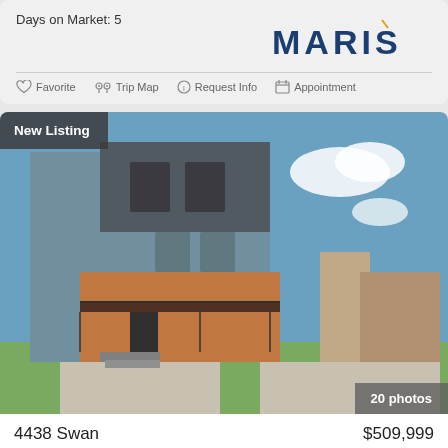Days on Market: 5
[Figure (logo): MARIS real estate logo in dark blue bold text]
Favorite  Trip Map  Request Info  Appointment
[Figure (photo): Modern multi-story home with gray and wood siding, black metal railings, blue sky background. New Listing badge top-left, 20 photos badge bottom-right.]
4438 Swan
$509,999